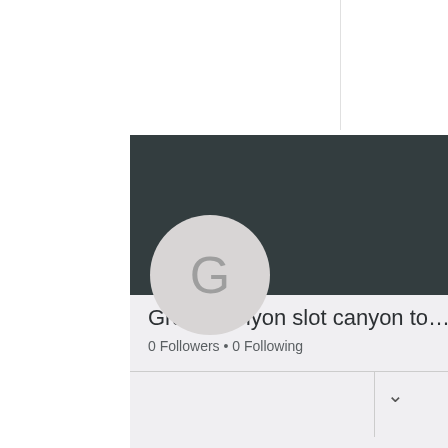[Figure (screenshot): Hamburger/menu icon with three horizontal gold lines]
[Figure (screenshot): Dark teal/gray profile header panel with Follow button and three-dot menu]
[Figure (illustration): Circular avatar with letter G on gray background]
Grand canyon slot canyon to…
0 Followers • 0 Following
Profile
Join date: May 16, 2022